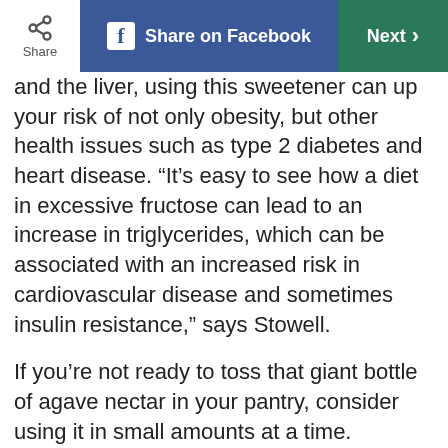Share | Share on Facebook | Next >
and the liver, using this sweetener can up your risk of not only obesity, but other health issues such as type 2 diabetes and heart disease. “It’s easy to see how a diet in excessive fructose can lead to an increase in triglycerides, which can be associated with an increased risk in cardiovascular disease and sometimes insulin resistance,” says Stowell.
If you’re not ready to toss that giant bottle of agave nectar in your pantry, consider using it in small amounts at a time. Otherwise, you’re better off switching to a healthier alternative such as raw honey, pure maple syrup, or stevia. “Save your